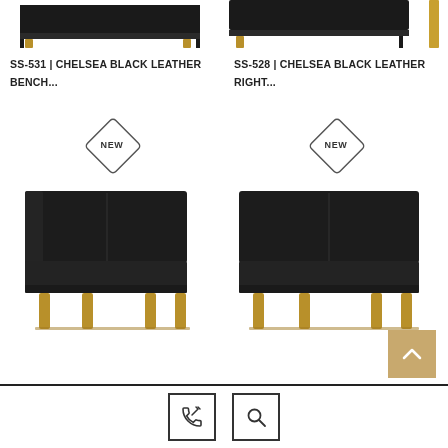[Figure (photo): Partial view of a black leather bench with golden/oak legs, top portion visible at top-left]
[Figure (photo): Partial view of a black leather bench with golden/oak legs, top portion visible at top-right, with a thin vertical golden leg]
SS-531 | CHELSEA BLACK LEATHER BENCH...
SS-528 | CHELSEA BLACK LEATHER RIGHT...
[Figure (photo): Black leather bench with armrest on left side and golden/oak wooden legs, NEW badge above]
[Figure (photo): Black leather bench without armrests with golden/oak wooden legs, NEW badge above]
Phone icon button and Search icon button in footer